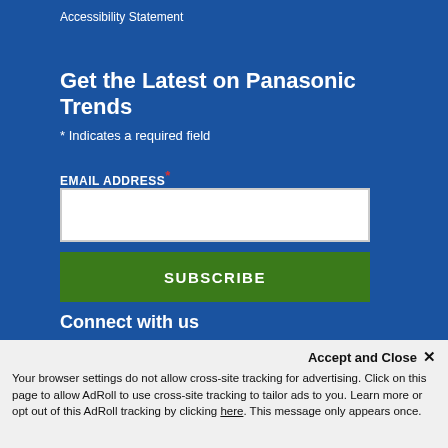Accessibility Statement
Get the Latest on Panasonic Trends
* Indicates a required field
EMAIL ADDRESS *
Connect with us
[Figure (infographic): Social media icons: Twitter, Facebook, LinkedIn, Instagram, YouTube]
Accept and Close ×
Your browser settings do not allow cross-site tracking for advertising. Click on this page to allow AdRoll to use cross-site tracking to tailor ads to you. Learn more or opt out of this AdRoll tracking by clicking here. This message only appears once.